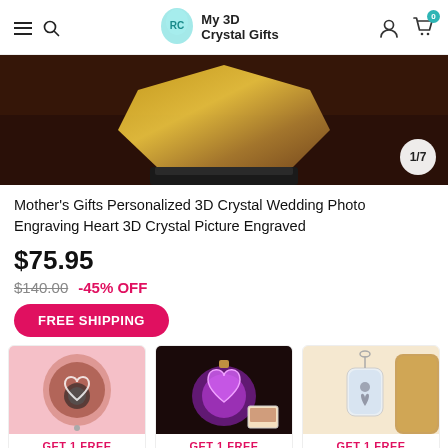My 3D Crystal Gifts
[Figure (photo): 3D crystal gift product in hexagonal gold frame on dark base, slide 1 of 7]
Mother's Gifts Personalized 3D Crystal Wedding Photo Engraving Heart 3D Crystal Picture Engraved
$75.95
$140.00  -45% OFF
FREE SHIPPING
[Figure (photo): Heart-shaped photo keychain on pink background - GET 1 FREE]
[Figure (photo): Heart-shaped LED crystal with photo on dark background - GET 1 FREE]
[Figure (photo): Crystal bottle necklace with photo engraving - GET 1 FREE]